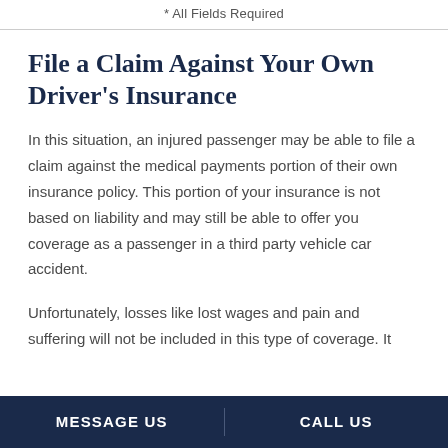* All Fields Required
File a Claim Against Your Own Driver's Insurance
In this situation, an injured passenger may be able to file a claim against the medical payments portion of their own insurance policy. This portion of your insurance is not based on liability and may still be able to offer you coverage as a passenger in a third party vehicle car accident.
Unfortunately, losses like lost wages and pain and suffering will not be included in this type of coverage. It
MESSAGE US    CALL US